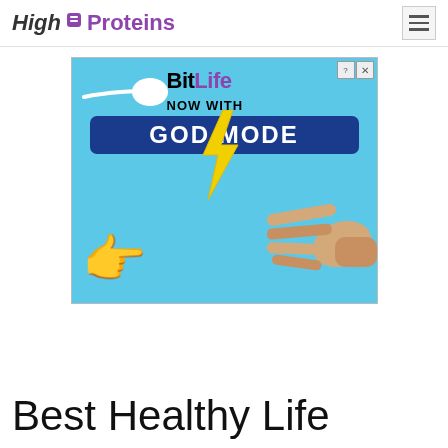High Proteins
[Figure (screenshot): BitLife advertisement banner with cyan background. Shows a sperm emoji, 'BitLife' title text, 'NOW WITH GOD MODE' text in a dark blue rounded rectangle, yellow lightning bolt, yellow pointing hand emoji, and a realistic hand reaching from the right. Small close/info buttons in top-right corner.]
Best Healthy Life